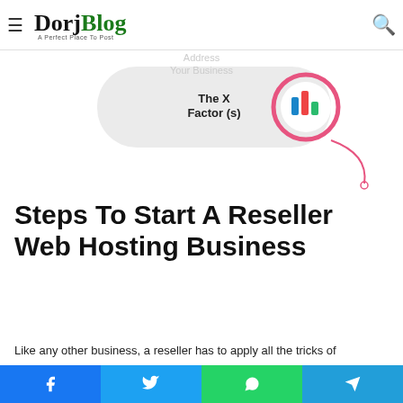DorjBlog - A Perfect Place To Post
[Figure (infographic): Partial infographic showing 'The X Factor(s)' bubble with a pink circle icon containing colored bar chart icon, on a light grey rounded rectangle background with a pink curved line.]
Steps To Start A Reseller Web Hosting Business
Like any other business, a reseller has to apply all the tricks of